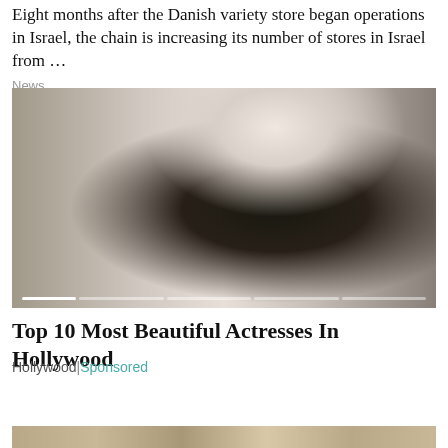Eight months after the Danish variety store began operations in Israel, the chain is increasing its number of stores in Israel from …
News
[Figure (photo): Woman in black dress, glamour photo used for article about top 10 most beautiful actresses in Hollywood. Carousel with slider indicator at bottom.]
Top 10 Most Beautiful Actresses In Hollywood
Hollywood | Sponsored